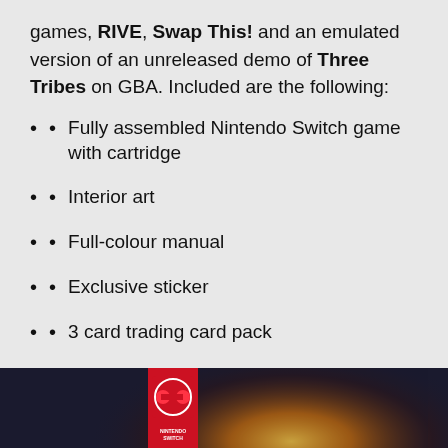games, RIVE, Swap This! and an emulated version of an unreleased demo of Three Tribes on GBA. Included are the following:
Fully assembled Nintendo Switch game with cartridge
Interior art
Full-colour manual
Exclusive sticker
3 card trading card pack
[Figure (photo): Nintendo Switch game box for what appears to be a space shooter game, showing the red Nintendo Switch box art with purple alien/robot enemies and an explosion effect in the background.]